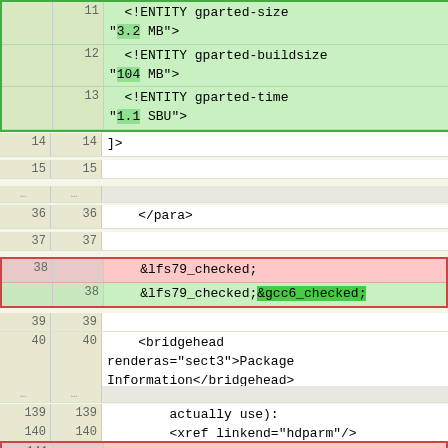[Figure (screenshot): Diff view of XML/DocBook source code showing added and removed lines with line numbers in two columns (old and new). Green highlighted blocks show added content, red highlighted blocks show removed/changed content. Lines 11-15, 36-40, 139-141 are visible.]